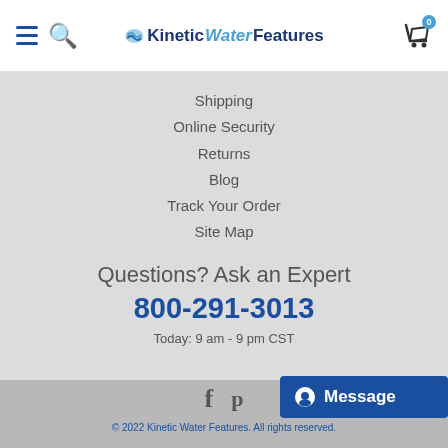Kinetic Water Features — navigation header with hamburger menu, search icon, logo, and cart
Shipping
Online Security
Returns
Blog
Track Your Order
Site Map
Questions? Ask an Expert
800-291-3013
Today: 9 am - 9 pm CST
© 2022 Kinetic Water Features. All rights reserved.